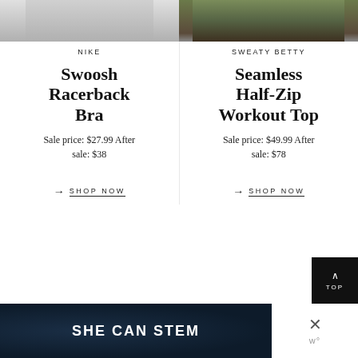[Figure (photo): Nike sports bra product image, cropped showing torso with black bra]
[Figure (photo): Sweaty Betty workout top product image, cropped showing leopard print leggings and top]
NIKE
SWEATY BETTY
Swoosh Racerback Bra
Seamless Half-Zip Workout Top
Sale price: $27.99 After sale: $38
Sale price: $49.99 After sale: $78
SHOP NOW
SHOP NOW
[Figure (infographic): SHE CAN STEM banner with dark navy background]
[Figure (logo): Close X button and WP logo in bottom right corner]